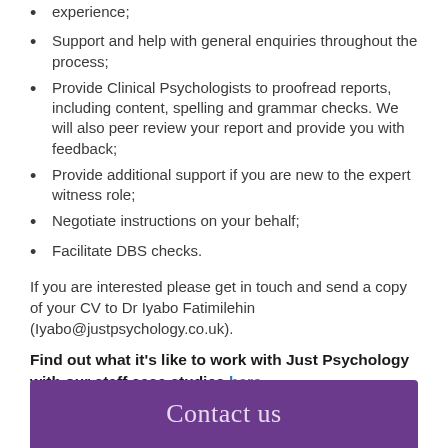experience;
Support and help with general enquiries throughout the process;
Provide Clinical Psychologists to proofread reports, including content, spelling and grammar checks. We will also peer review your report and provide you with feedback;
Provide additional support if you are new to the expert witness role;
Negotiate instructions on your behalf;
Facilitate DBS checks.
If you are interested please get in touch and send a copy of your CV to Dr Iyabo Fatimilehin (Iyabo@justpsychology.co.uk).
Find out what it's like to work with Just Psychology with our staff case studies here.
Contact us